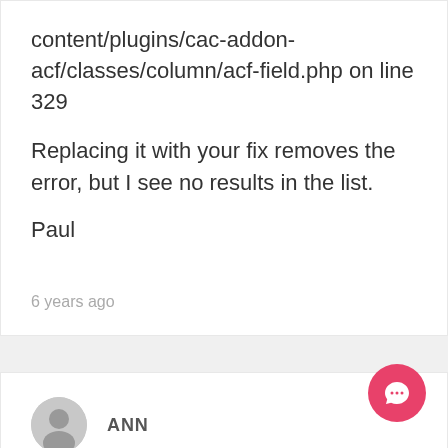content/plugins/cac-addon-acf/classes/column/acf-field.php on line 329
Replacing it with your fix removes the error, but I see no results in the list.
Paul
6 years ago
ANN
Hi Tobias,